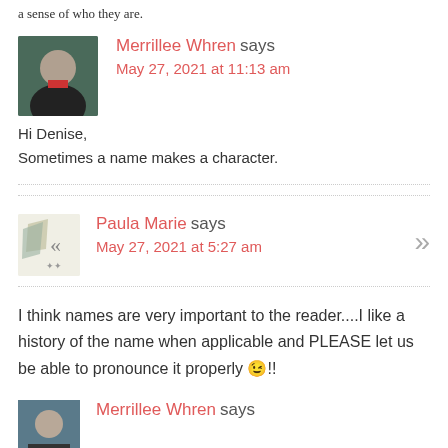a sense of who they are.
Merrillee Whren says
May 27, 2021 at 11:13 am
Hi Denise,
Sometimes a name makes a character.
Paula Marie says
May 27, 2021 at 5:27 am
I think names are very important to the reader....I like a history of the name when applicable and PLEASE let us be able to pronounce it properly 😉!!
Merrillee Whren says